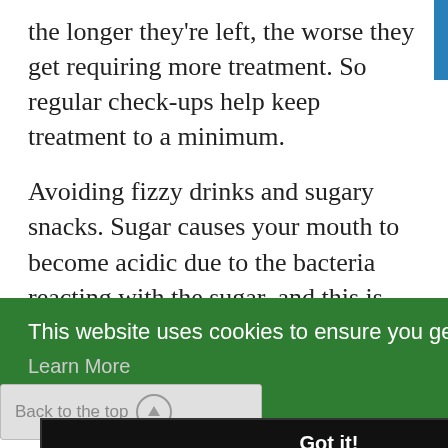the longer they're left, the worse they get requiring more treatment. So regular check-ups help keep treatment to a minimum.
Avoiding fizzy drinks and sugary snacks. Sugar causes your mouth to become acidic due to the bacteria reacting with the sugar, and this is what causes decay.
[Figure (screenshot): Cookie consent banner overlay on green background with text 'This website uses cookies to ensure you get the best experience on our website.' and a 'Learn More' link, a 'Back to the top' button with an upward arrow, and a 'Got it!' black button.]
types of nuts are also widely recommended